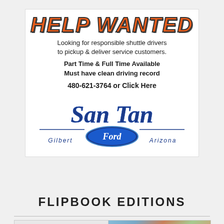[Figure (infographic): Help Wanted advertisement for San Tan Ford Gilbert Arizona looking for shuttle drivers. Orange bold italic 'HELP WANTED' header, body text about responsible shuttle drivers, part time and full time available, must have clean driving record, phone number 480-621-3764, San Tan Ford Gilbert Arizona logo in blue cursive with Ford oval badge.]
FLIPBOOK EDITIONS
[Figure (photo): Two small flipbook edition thumbnails side by side. Left: Sun Lakes Splash magazine cover with orange sunset. Right: colorful group photo.]